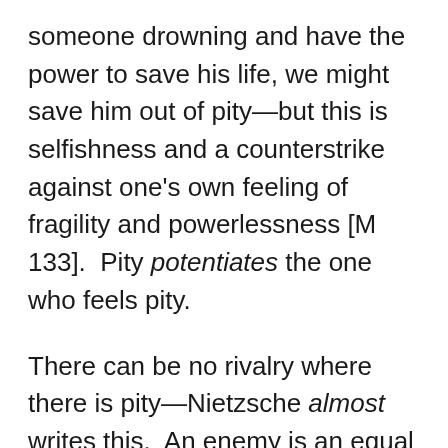someone drowning and have the power to save his life, we might save him out of pity—but this is selfishness and a counterstrike against one's own feeling of fragility and powerlessness [M 133].  Pity potentiates the one who feels pity.
There can be no rivalry where there is pity—Nietzsche almost writes this.  An enemy is an equal—one does not pity one's enemies.  If you want a rivalry to end, pity your enemy.  This does not imply that pity equalizes or levels the distinction between the one who is piteous and the one who is pitiable but rather that it introduces an unsurpassable distance between the one who pities and the one who is pitied,